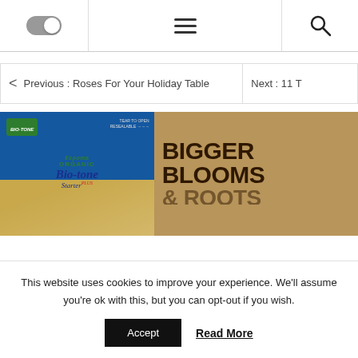Navigation bar with toggle, hamburger menu, and search icons
Previous : Roses For Your Holiday Table
Next : 11 T
[Figure (photo): Advertisement for Espoma Organic Bio-tone Starter Plus fertilizer with text BIGGER BLOOMS and partially visible ROOTS on a golden/brown background]
This website uses cookies to improve your experience. We'll assume you're ok with this, but you can opt-out if you wish.
Accept   Read More